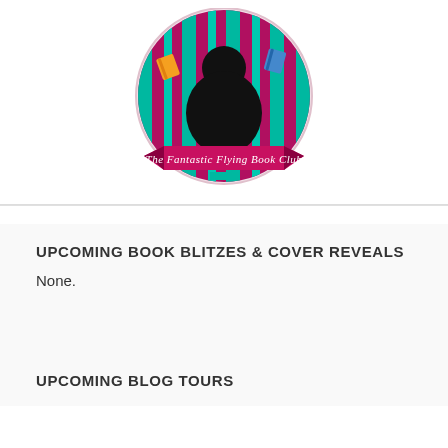[Figure (logo): The Fantastic Flying Book Club logo: circular badge with magenta/pink and teal vertical stripes, black silhouette of a person reading, small colorful books floating around, ribbon banner at bottom reading 'The Fantastic Flying Book Club' in cursive script.]
UPCOMING BOOK BLITZES & COVER REVEALS
None.
UPCOMING BLOG TOURS